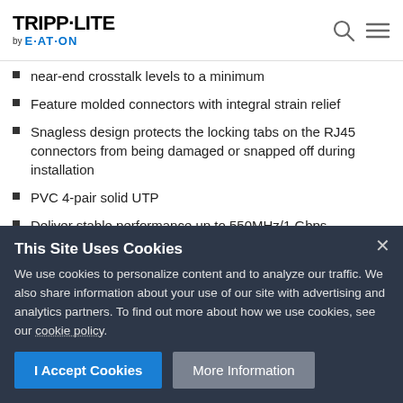TRIPP-LITE by EATON
near-end crosstalk levels to a minimum
Feature molded connectors with integral strain relief
Snagless design protects the locking tabs on the RJ45 connectors from being damaged or snapped off during installation
PVC 4-pair solid UTP
Deliver stable performance up to 550MHz/1 Gbps communication
This Site Uses Cookies
We use cookies to personalize content and to analyze our traffic. We also share information about your use of our site with advertising and analytics partners. To find out more about how we use cookies, see our cookie policy.
I Accept Cookies
More Information